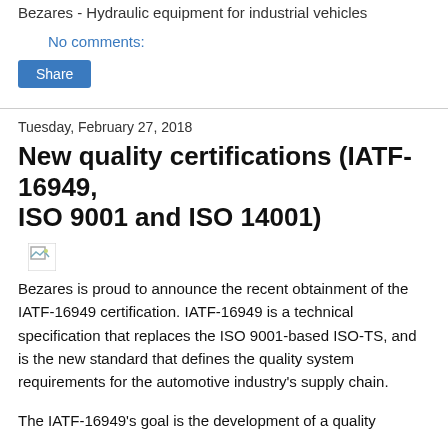Bezares - Hydraulic equipment for industrial vehicles
No comments:
Share
Tuesday, February 27, 2018
New quality certifications (IATF-16949, ISO 9001 and ISO 14001)
[Figure (photo): Broken image placeholder]
Bezares is proud to announce the recent obtainment of the IATF-16949 certification. IATF-16949 is a technical specification that replaces the ISO 9001-based ISO-TS, and is the new standard that defines the quality system requirements for the automotive industry’s supply chain.
The IATF-16949’s goal is the development of a quality